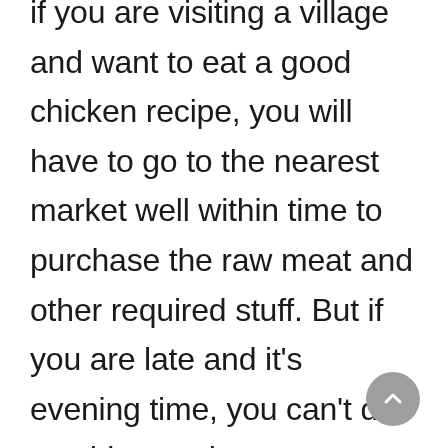if you are visiting a village and want to eat a good chicken recipe, you will have to go to the nearest market well within time to purchase the raw meat and other required stuff. But if you are late and it’s evening time, you can’t do anything as there are no options left. In rural and village areas, markets get closed and deserted very early.